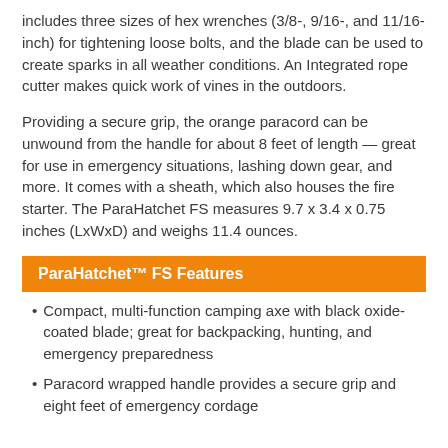includes three sizes of hex wrenches (3/8-, 9/16-, and 11/16-inch) for tightening loose bolts, and the blade can be used to create sparks in all weather conditions. An Integrated rope cutter makes quick work of vines in the outdoors.
Providing a secure grip, the orange paracord can be unwound from the handle for about 8 feet of length — great for use in emergency situations, lashing down gear, and more. It comes with a sheath, which also houses the fire starter. The ParaHatchet FS measures 9.7 x 3.4 x 0.75 inches (LxWxD) and weighs 11.4 ounces.
ParaHatchet™ FS Features
Compact, multi-function camping axe with black oxide-coated blade; great for backpacking, hunting, and emergency preparedness
Paracord wrapped handle provides a secure grip and eight feet of emergency cordage